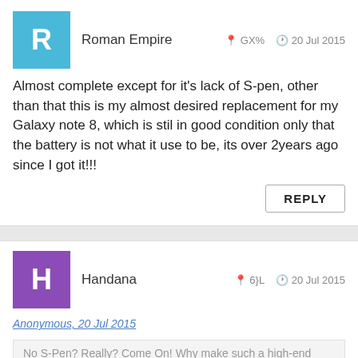Roman Empire | GX% | 20 Jul 2015
Almost complete except for it's lack of S-pen, other than that this is my almost desired replacement for my Galaxy note 8, which is stil in good condition only that the battery is not what it use to be, its over 2years ago since I got it!!!
REPLY
Handana | 6}L | 20 Jul 2015
Anonymous, 20 Jul 2015
No S-Pen? Really? Come On! Why make such a high-end device... more
Yes agree, and what's wrong with a stylus included? I don't see any harm to include a stylus on this hugh end tablet.